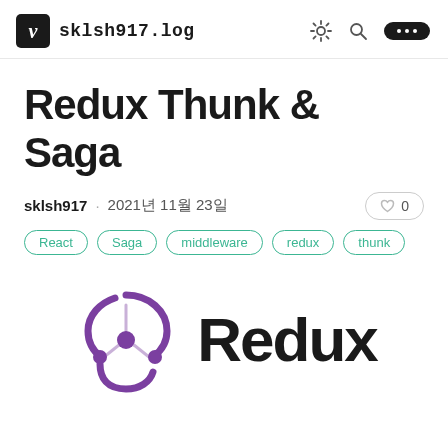v sklsh917.log
Redux Thunk & Saga
sklsh917 · 2021년 11월 23일
React
Saga
middleware
redux
thunk
[Figure (logo): Redux logo: purple interconnected nodes icon with the text 'Redux' in bold black to the right]